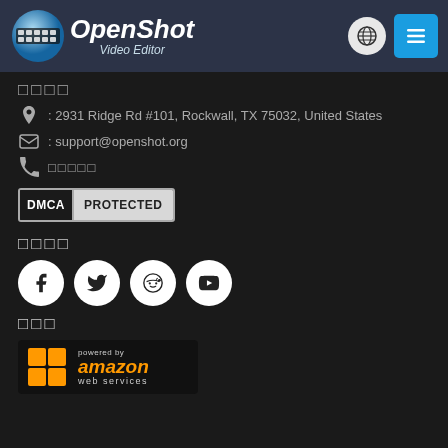[Figure (logo): OpenShot Video Editor logo with globe and film reel icon, brand name and navigation buttons]
□□□□
: 2931 Ridge Rd #101, Rockwall, TX 75032, United States
: support@openshot.org
□□□□□
[Figure (logo): DMCA PROTECTED badge]
□□□□
[Figure (infographic): Social media icons: Facebook, Twitter, Reddit, YouTube]
□□□
[Figure (logo): Powered by Amazon Web Services badge]